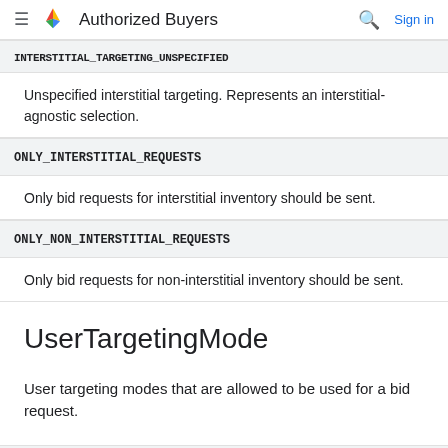≡ Authorized Buyers  🔍  Sign in
INTERSTITIAL_TARGETING_UNSPECIFIED
Unspecified interstitial targeting. Represents an interstitial-agnostic selection.
ONLY_INTERSTITIAL_REQUESTS
Only bid requests for interstitial inventory should be sent.
ONLY_NON_INTERSTITIAL_REQUESTS
Only bid requests for non-interstitial inventory should be sent.
UserTargetingMode
User targeting modes that are allowed to be used for a bid request.
Enums